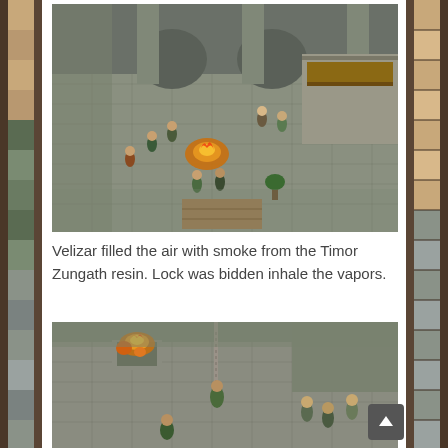[Figure (photo): Overhead view of a tabletop RPG/miniatures scene showing a dungeon interior with stone arches, miniature figures of adventurers and monsters, wooden furniture, a fireplace or campfire with orange flames, and stone tile flooring. The image has a tilt-shift/shallow depth of field effect with blurred edges.]
Velizar filled the air with smoke from the Timor Zungath resin. Lock was bidden inhale the vapors.
[Figure (photo): Close-up overhead view of another tabletop RPG miniatures scene showing a dungeon room with stone walls, miniature figures including humanoid creatures, a brazier or fire source with orange flames, chains or ropes, and stone tile flooring. Shallow depth of field with blurred upper portion.]